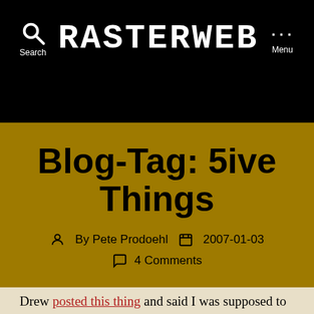RASTERWEB
Blog-Tag: 5ive Things
By Pete Prodoehl   2007-01-03   4 Comments
Drew posted this thing and said I was supposed to do the same… So, eh, why not?